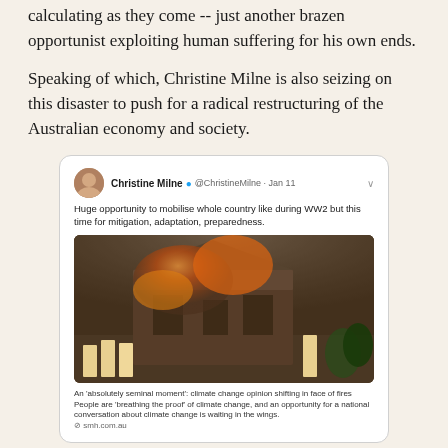calculating as they come -- just another brazen opportunist exploiting human suffering for his own ends.
Speaking of which, Christine Milne is also seizing on this disaster to push for a radical restructuring of the Australian economy and society.
[Figure (screenshot): Screenshot of a tweet by Christine Milne (@ChristineMilne, Jan 11) saying 'Huge opportunity to mobilise whole country like during WW2 but this time for mitigation, adaptation, preparedness.' with an embedded image of a burning building with firefighters, and a link preview from smh.com.au about climate change opinion shifting in face of fires.]
Fascinating that she invokes militarism given that she's spent so many years proclaiming her pacifism. As well as showing her up as a massive fake, the tweet also gives an insight into her deeply misanthropic mindset.